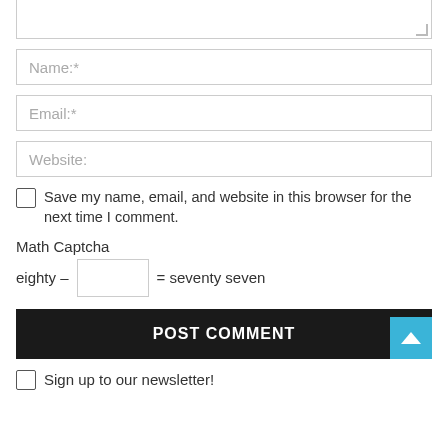[Figure (screenshot): Partial textarea input at top of page showing resize handle]
Name:*
Email:*
Website:
Save my name, email, and website in this browser for the next time I comment.
Math Captcha
eighty – [input] = seventy seven
POST COMMENT
Sign up to our newsletter!